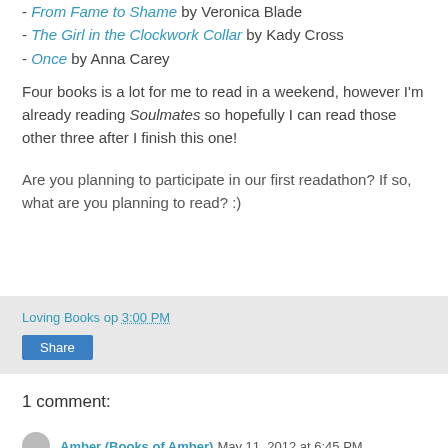- From Fame to Shame by Veronica Blade
- The Girl in the Clockwork Collar by Kady Cross
- Once by Anna Carey
Four books is a lot for me to read in a weekend, however I'm already reading Soulmates so hopefully I can read those other three after I finish this one!
Are you planning to participate in our first readathon? If so, what are you planning to read? :)
Loving Books op 3:00 PM
Share
1 comment:
Amber (Books of Amber) May 11, 2012 at 6:45 PM